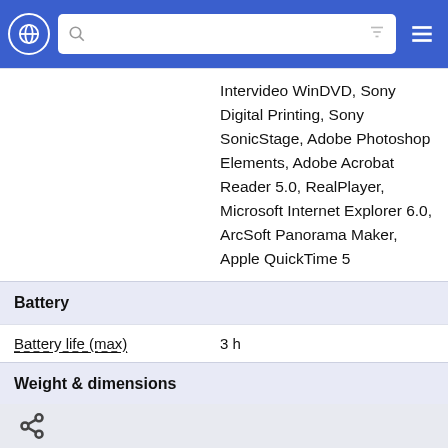Navigation bar with globe icon, search box, filter icon, and menu icon
|  | Intervideo WinDVD, Sony Digital Printing, Sony SonicStage, Adobe Photoshop Elements, Adobe Acrobat Reader 5.0, RealPlayer, Microsoft Internet Explorer 6.0, ArcSoft Panorama Maker, Apple QuickTime 5 |
| Battery |  |
| Battery life (max) | 3 h |
| Weight & dimensions |  |
| Weight * | 3.8 kg |
| Other features |  |
| Dimensions (WxDxH) | 355 x 292 x 40 mm |
Share icon